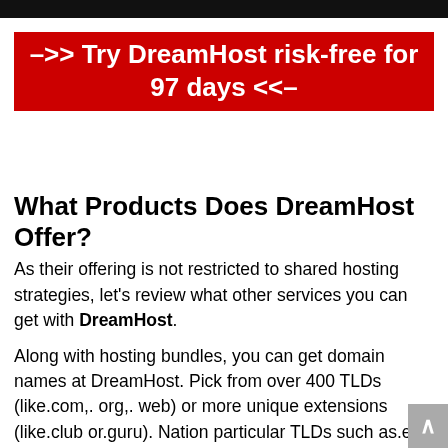–>> Try DreamHost risk-free for 97 days <<–
What Products Does DreamHost Offer?
As their offering is not restricted to shared hosting strategies, let's review what other services you can get with DreamHost.
Along with hosting bundles, you can get domain names at DreamHost. Pick from over 400 TLDs (like.com,. org,. web) or more unique extensions (like.club or.guru). Nation particular TLDs such as.es,. fr,. co.uk or.de are likewise readily available.